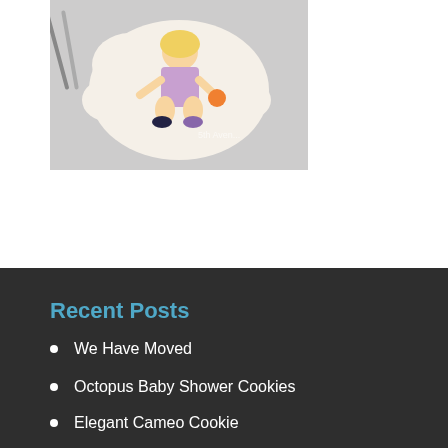[Figure (photo): A decorated cookie shaped like a cloud with a painted little girl in a purple dress sitting cross-legged, with a CakesDecor logo and 'editor's choice' pink banner below]
Recent Posts
We Have Moved
Octopus Baby Shower Cookies
Elegant Cameo Cookie